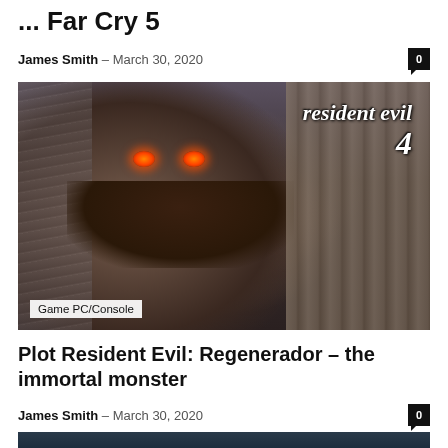... Far Cry 5
James Smith – March 30, 2020
[Figure (photo): Resident Evil 4 game art showing a close-up of a regenerador monster with glowing orange eyes and jagged teeth, with the Resident Evil 4 logo in the top right corner. A 'Game PC/Console' category tag is overlaid in the bottom left.]
Plot Resident Evil: Regenerador – the immortal monster
James Smith – March 30, 2020
[Figure (photo): Partial view of a dark blue-toned game screenshot at the bottom of the page, partially cut off.]